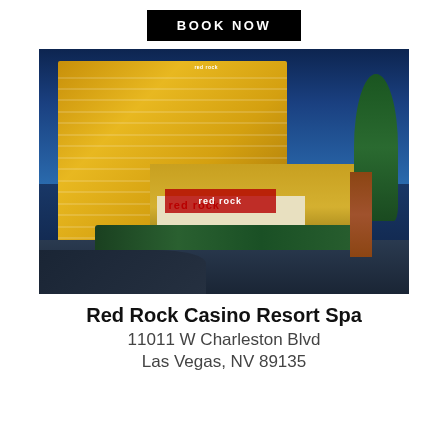BOOK NOW
[Figure (photo): Exterior night photograph of Red Rock Casino Resort Spa building in Las Vegas, showing the curved golden-lit hotel tower and entrance with 'red rock' signage, palm trees, and landscaped grounds against a deep blue twilight sky.]
Red Rock Casino Resort Spa
11011 W Charleston Blvd
Las Vegas, NV 89135